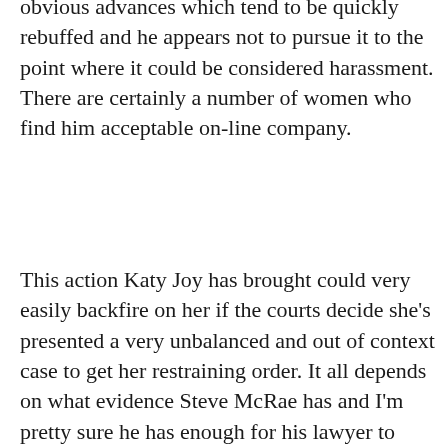obvious advances which tend to be quickly rebuffed and he appears not to pursue it to the point where it could be considered harassment. There are certainly a number of women who find him acceptable on-line company.
This action Katy Joy has brought could very easily backfire on her if the courts decide she's presented a very unbalanced and out of context case to get her restraining order. It all depends on what evidence Steve McRae has and I'm pretty sure he has enough for his lawyer to present a case strong enough to make the court consider a hearing or trial to be appropriate. This is going to get very messy, expensive and unpleasant for all concerned. Trouble is, no one wants to hear about the reality of court actions of this type since they're all in their respective bunkers and anything but rational skeptics willing to recognize that all